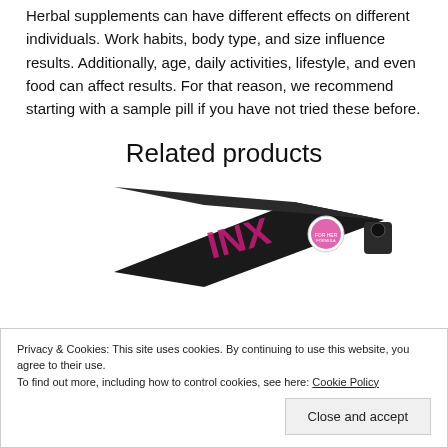Herbal supplements can have different effects on different individuals. Work habits, body type, and size influence results. Additionally, age, daily activities, lifestyle, and even food can affect results. For that reason, we recommend starting with a sample pill if you have not tried these before.
Related products
[Figure (photo): Product box with dark packaging and pink graphic design elements, shown at an angle on a surface.]
Privacy & Cookies: This site uses cookies. By continuing to use this website, you agree to their use. To find out more, including how to control cookies, see here: Cookie Policy
Close and accept